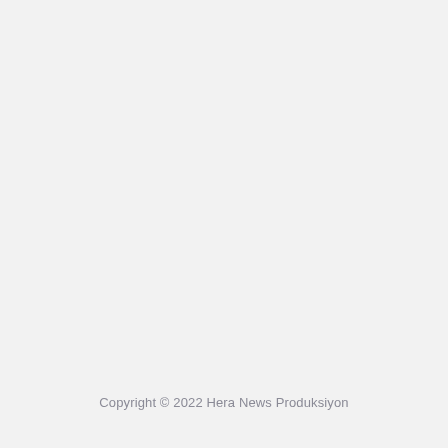Copyright © 2022 Hera News Produksiyon